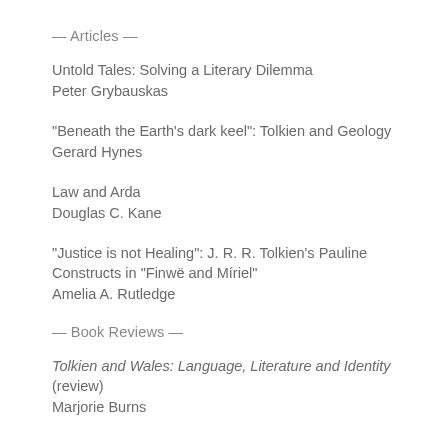— Articles —
Untold Tales: Solving a Literary Dilemma
Peter Grybauskas
“Beneath the Earth’s dark keel”: Tolkien and Geology
Gerard Hynes
Law and Arda
Douglas C. Kane
“Justice is not Healing”: J. R. R. Tolkien’s Pauline Constructs in “Finwë and Míriel”
Amelia A. Rutledge
— Book Reviews —
Tolkien and Wales: Language, Literature and Identity (review)
Marjorie Burns